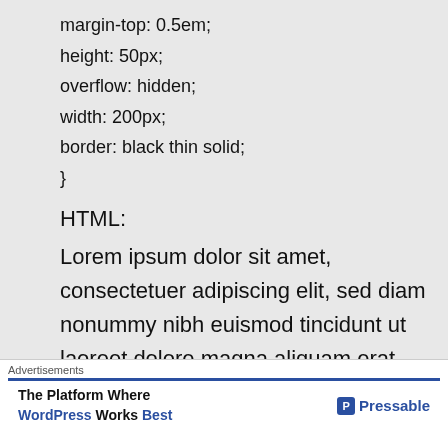margin-top: 0.5em;
height: 50px;
overflow: hidden;
width: 200px;
border: black thin solid;
}
HTML:
Lorem ipsum dolor sit amet, consectetuer adipiscing elit, sed diam nonummy nibh euismod tincidunt ut laoreet dolore magna aliquam erat volutpat. Ut wisi enim ad minim veniam, quis nostrud exerci tation
Advertisements | The Platform Where WordPress Works Best | Pressable